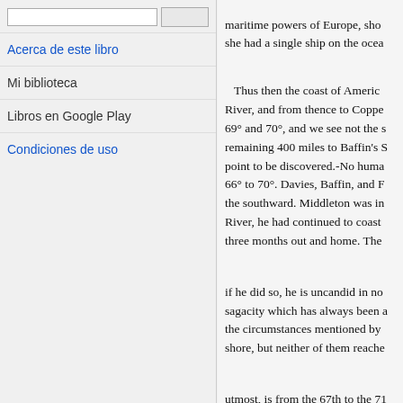Acerca de este libro
Mi biblioteca
Libros en Google Play
Condiciones de uso
maritime powers of Europe, sho... she had a single ship on the ocea...
Thus then the coast of Americ... River, and from thence to Coppe... 69° and 70°, and we see not the s... remaining 400 miles to Baffin's S... point to be discovered.-No huma... 66° to 70°. Davies, Baffin, and F... the southward. Middleton was in... River, he had continued to coast ... three months out and home. The ...
if he did so, he is uncandid in no... sagacity which has always been a... the circumstances mentioned by ... shore, but neither of them reache...
utmost, is from the 67th to the 71...
Two small schooners of 80 or... Greenland fishermen to act as pil...